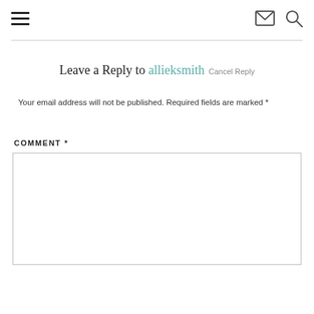≡  ✉ 🔍
Leave a Reply to allieksmith Cancel Reply
Your email address will not be published. Required fields are marked *
COMMENT *